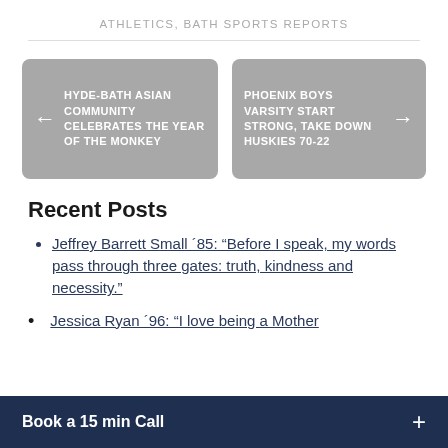ATHLETICS, BATH SPORTS REPORTS
[Figure (other): Navigation card pointing left with text: HYDE-BATH ASIAN COMMUNITY CELEBRATES THE YEAR OF THE MONKEY]
[Figure (other): Navigation card pointing right with text: PHOENIX BOYS VARSITY START STRONG, TAKE DOWN HUSKIES 70-22]
Recent Posts
Jeffrey Barrett Small ´85: “Before I speak, my words pass through three gates: truth, kindness and necessity.”
Jessica Ryan ´96: “I love being a Mother…
Book a 15 min Call